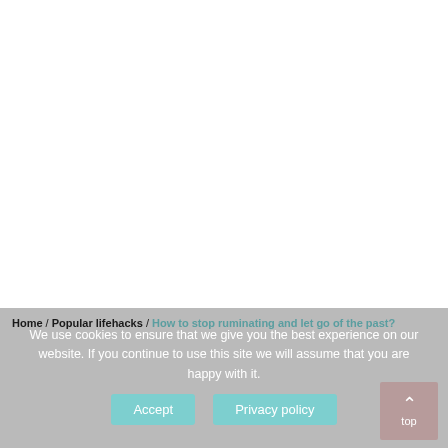Home / Popular lifehacks / How to stop ruminating and let go of the past?
We use cookies to ensure that we give you the best experience on our website. If you continue to use this site we will assume that you are happy with it.
Accept   Privacy policy